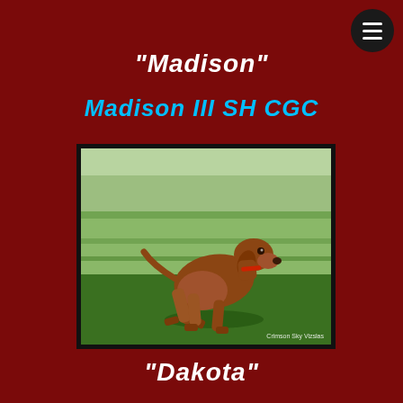“Madison”
Madison III SH CGC
[Figure (photo): A brown/rust-colored Vizsla dog running on green grass, mid-stride with one front paw raised. Photo credit: Crimson Sky Vizslas.]
“Dakota”